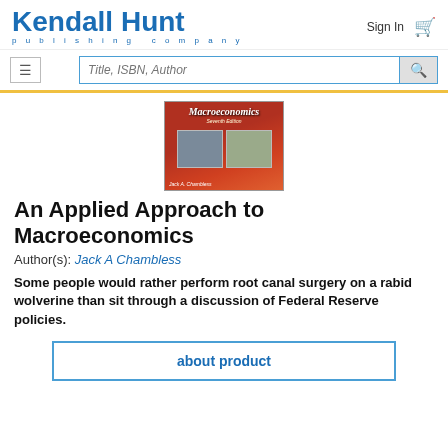[Figure (logo): Kendall Hunt publishing company logo in blue]
Sign In
[Figure (illustration): Book cover: Macroeconomics by Jack A Chambless, red/orange background with photos]
An Applied Approach to Macroeconomics
Author(s): Jack A Chambless
Some people would rather perform root canal surgery on a rabid wolverine than sit through a discussion of Federal Reserve policies.
about product